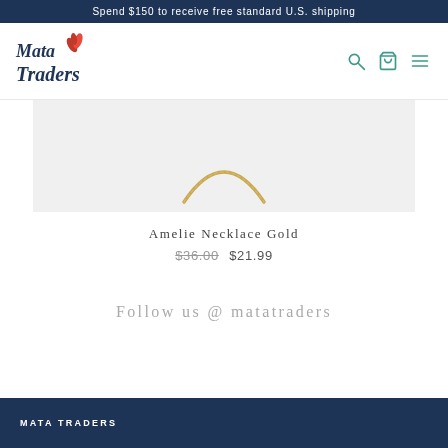Spend $150 to receive free standard U.S. shipping
[Figure (logo): Mata Traders logo with stylized text and red flower icon]
[Figure (photo): Gold chain necklace (Amelie Necklace Gold) on light gray background]
Amelie Necklace Gold
$36.00  $21.99
Follow us @ matatraders
MATA TRADERS